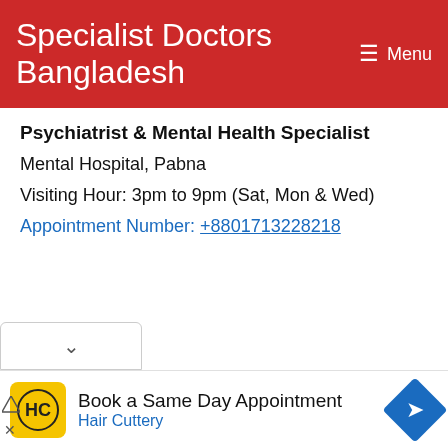Specialist Doctors Bangladesh  Menu
Psychiatrist & Mental Health Specialist
Mental Hospital, Pabna
Visiting Hour: 3pm to 9pm (Sat, Mon & Wed)
Appointment Number: +8801713228218
[Figure (screenshot): Advertisement banner: Book a Same Day Appointment - Hair Cuttery, with Hair Cuttery logo and blue directional arrow icon]